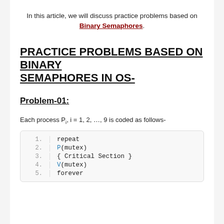In this article, we will discuss practice problems based on Binary Semaphores.
PRACTICE PROBLEMS BASED ON BINARY SEMAPHORES IN OS-
Problem-01:
Each process Pi, i = 1, 2, …, 9 is coded as follows-
1. repeat
2. P(mutex)
3. { Critical Section }
4. V(mutex)
5. forever